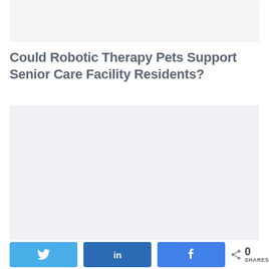[Figure (photo): Top placeholder image area, light gray background]
Could Robotic Therapy Pets Support Senior Care Facility Residents?
[Figure (photo): Main content placeholder image area, light gray background]
N SHARES  0